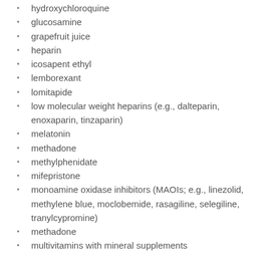hydroxychloroquine
glucosamine
grapefruit juice
heparin
icosapent ethyl
lemborexant
lomitapide
low molecular weight heparins (e.g., dalteparin, enoxaparin, tinzaparin)
melatonin
methadone
methylphenidate
mifepristone
monoamine oxidase inhibitors (MAOIs; e.g., linezolid, methylene blue, moclobemide, rasagiline, selegiline, tranylcypromine)
methadone
multivitamins with mineral supplements